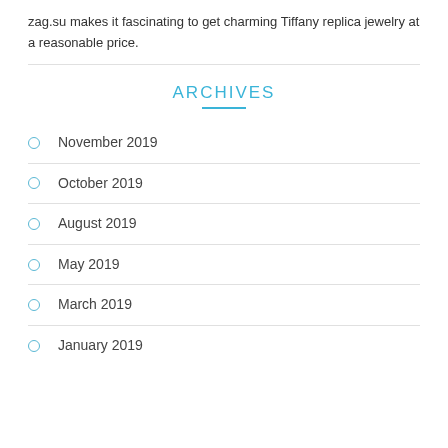zag.su makes it fascinating to get charming Tiffany replica jewelry at a reasonable price.
ARCHIVES
November 2019
October 2019
August 2019
May 2019
March 2019
January 2019